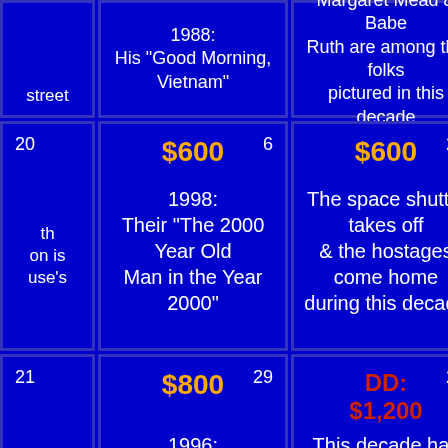[Figure (screenshot): Jeopardy game board showing clue cells with dollar amounts and trivia questions on blue background. Partial view showing columns with $600 and $800 rows, with clues about decades, movies, and events.]